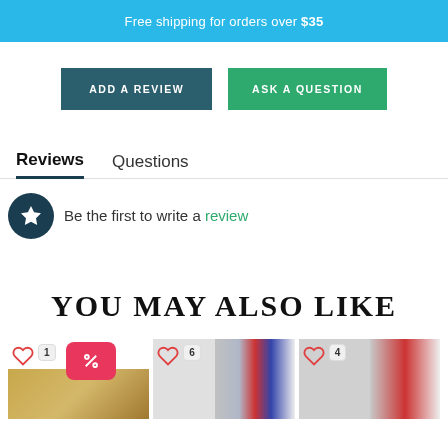Free shipping for orders over $35
ADD A REVIEW
ASK A QUESTION
Reviews
Questions
Be the first to write a review
YOU MAY ALSO LIKE
[Figure (photo): Product card with heart icon, count badge '1', discount badge with % symbol, and gold card product image]
[Figure (photo): Product card with heart icon, count badge '6', and American flag curtain product image]
[Figure (photo): Product card with heart icon, count badge '4', and partially visible product image]